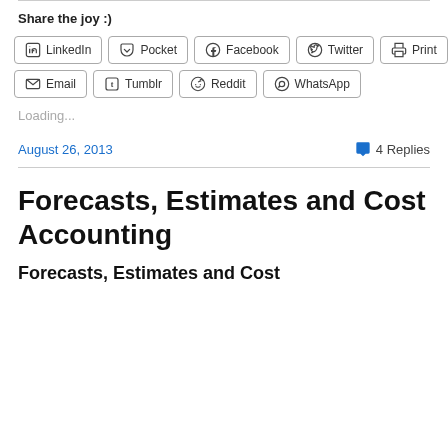Share the joy :)
LinkedIn  Pocket  Facebook  Twitter  Print  Email  Tumblr  Reddit  WhatsApp
Loading...
August 26, 2013   4 Replies
Forecasts, Estimates and Cost Accounting
Forecasts, Estimates and Cost